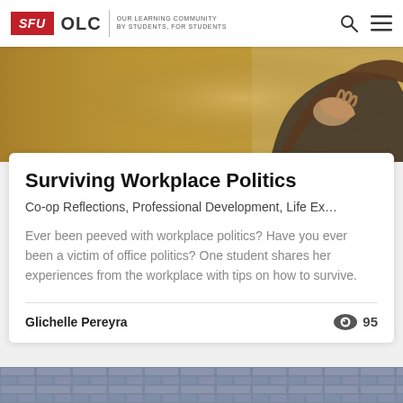SFU OLC | OUR LEARNING COMMUNITY BY STUDENTS, FOR STUDENTS
[Figure (photo): Close-up photo of a woman with long hair touching her chin/neck area, warm golden/amber background]
Surviving Workplace Politics
Co-op Reflections, Professional Development, Life Ex…
Ever been peeved with workplace politics? Have you ever been a victim of office politics? One student shares her experiences from the workplace with tips on how to survive.
Glichelle Pereyra
95
[Figure (photo): Partial view of a stone/brick wall at the bottom of the page]